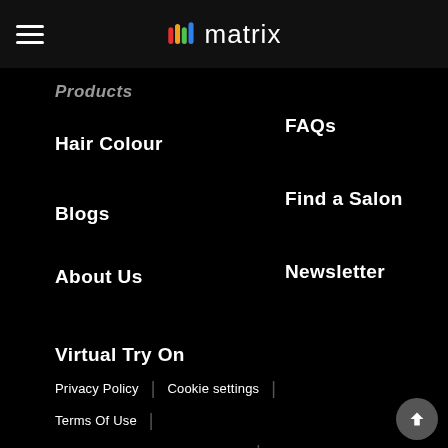matrix
Products
FAQs
Hair Colour
Find a Salon
Blogs
Newsletter
About Us
Virtual Try On
Privacy Policy
Cookie settings
Terms Of Use
User Content Permission Terms
Online Sales Policy